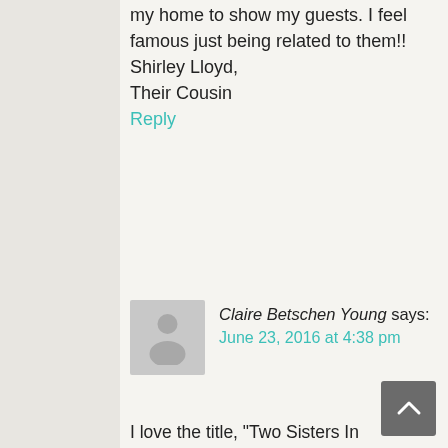my home to show my guests. I feel famous just being related to them!! Shirley Lloyd,
Their Cousin
Reply
Claire Betschen Young says:
June 23, 2016 at 4:38 pm
I love the title, “Two Sisters In American Art Collector 2016”!! The best part, is that they are MY sisters also!!! How proud our parents would be. I know I am!! Best of luck and fun in your future artwork, Bobbi & Judie!!

Love you,
Claire